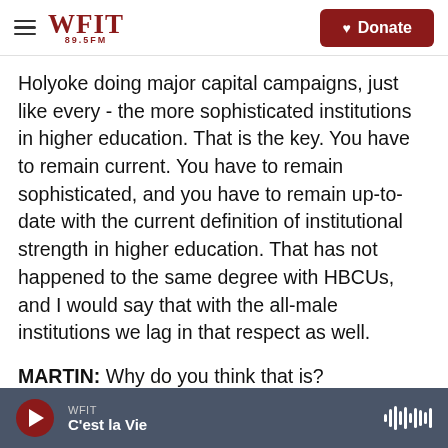WFIT 89.5FM | Donate
Holyoke doing major capital campaigns, just like every - the more sophisticated institutions in higher education. That is the key. You have to remain current. You have to remain sophisticated, and you have to remain up-to-date with the current definition of institutional strength in higher education. That has not happened to the same degree with HBCUs, and I would say that with the all-male institutions we lag in that respect as well.
MARTIN: Why do you think that is?
WILSON: I'm not sure all of the reasons why that is,
WFIT | C'est la Vie